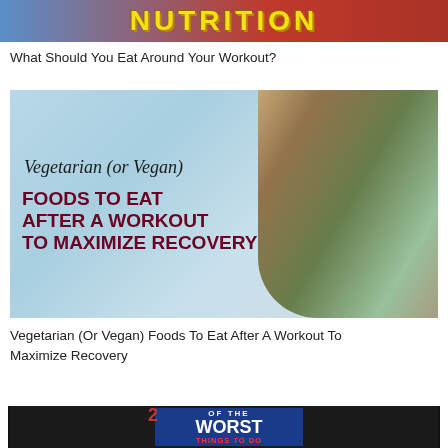[Figure (illustration): Banner image with bold yellow text 'NUTRITION' on a blue and red background]
What Should You Eat Around Your Workout?
[Figure (illustration): Image showing various vegetarian and vegan foods on a light blue background with handwritten text 'Vegetarian (or Vegan)' and bold dark red text 'FOODS TO EAT AFTER A WORKOUT TO MAXIMIZE RECOVERY']
Vegetarian (Or Vegan) Foods To Eat After A Workout To Maximize Recovery
[Figure (illustration): Dark banner image with red text partially visible 'WO...OUT' and a blue box overlay reading '2 OF THE WORST THINGS TO DO BEFORE...']